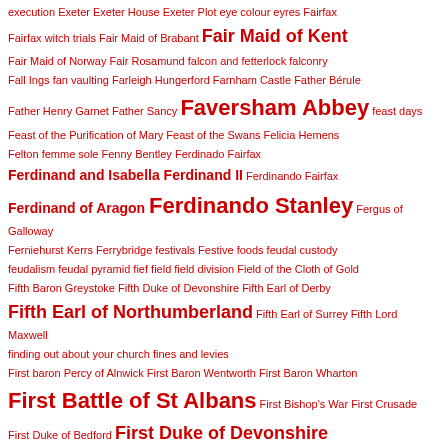execution  Exeter  Exeter House  Exeter Plot  eye colour  eyres  Fairfax  Fairfax witch trials  Fair Maid of Brabant  Fair Maid of Kent  Fair Maid of Norway  Fair Rosamund  falcon and fetterlock  falconry  Fall Ings  fan vaulting  Farleigh Hungerford  Farnham Castle  Father Bérule  Father Henry Garnet  Father Sancy  Faversham Abbey  feast days  Feast of the Purification of Mary  Feast of the Swans  Felicia Hemens  Felton  femme sole  Fenny Bentley  Ferdinado Fairfax  Ferdinand and Isabella  Ferdinand II  Ferdinando Fairfax  Ferdinand of Aragon  Ferdinando Stanley  Fergus of Galloway  Ferniehurst Kerrs  Ferrybridge  festivals  Festive foods  feudal custody  feudalism  feudal pyramid  fief  field  field division  Field of the Cloth of Gold  Fifth Baron Greystoke  Fifth Duke of Devonshire  Fifth Earl of Derby  Fifth Earl of Northumberland  Fifth Earl of Surrey  Fifth Lord Maxwell  finding out about your church  fines and levies  First baron Percy of Alnwick  First Baron Wentworth  First Baron Wharton  First Battle of St Albans  First Bishop's War  First Crusade  First Duke of Bedford  First Duke of Devonshire  First Earl of Devonshire  First Earl of Home  First Earl of Northumberland  First Earl of Somerset  First Earl of Southampton  First earl of Suffolk